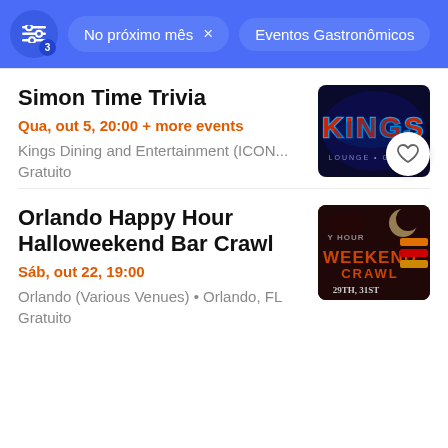No próximo mês  ×   Eventos Gastronômicos
Simon Time Trivia
Qua, out 5, 20:00 + more events
Kings Dining and Entertainment (ICON...
Gratuito
[Figure (photo): KINGS neon sign, blue and red lighting, lounge setting]
Orlando Happy Hour Halloweekend Bar Crawl
Sáb, out 22, 19:00
Orlando (Various Venues) • Orlando, FL
Gratuito
[Figure (photo): Halloweekend Bar Crawl event poster with Halloween imagery, October 29th, 31st dates shown]